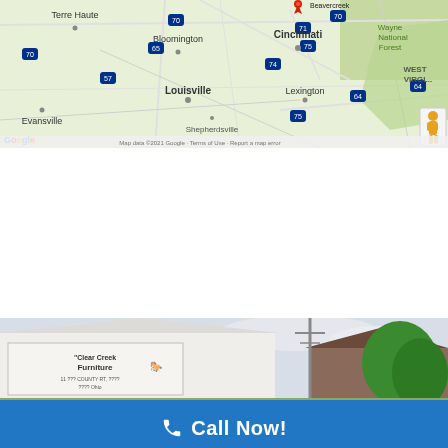[Figure (map): Google Maps screenshot showing the Midwest region of the USA, including cities: Terre Haute, Bloomington, Cincinnati, Evansville, Louisville, Sheperdsville, Lexington, and West Virginia label. Wayne National Forest is visible. A red map pin is visible above Cincinnati. A Google Street View yellow pegman icon is in the lower right. Google logo and copyright text visible at bottom.]
[Figure (photo): Exterior photo of Clear Creek Furniture store building with a sign reading 'Clear Creek Furniture' on the white-sided building facade. A tall utility pole with antenna is visible in the background along with a green tree.]
Call Now!